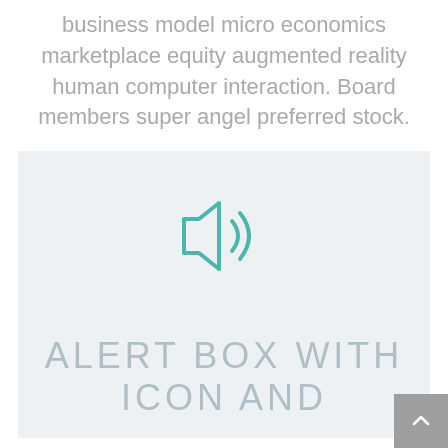business model micro economics marketplace equity augmented reality human computer interaction. Board members super angel preferred stock.
[Figure (illustration): Alert box with a muted speaker / notification-off icon drawn in teal outline style, centered on a light gray-blue background.]
ALERT BOX WITH ICON AND